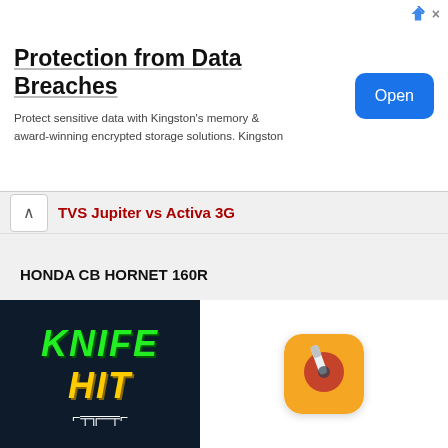[Figure (screenshot): Advertisement banner for Kingston data protection - 'Protection from Data Breaches' with Open button]
TVS Jupiter vs Activa 3G
HONDA CB HORNET 160R
vs Bajaj Pulsar 150
vs Honda CB Unicorn 160
vs TVS Apache RTR 180
[Figure (screenshot): Bottom advertisement showing Knife Hit game app with logo and app icon]